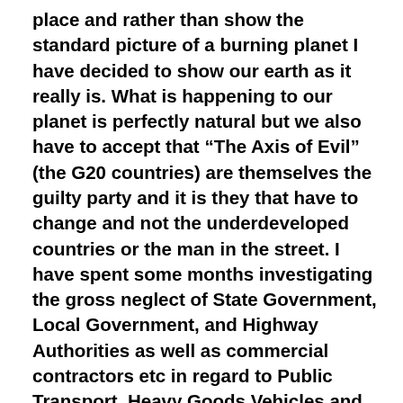place and rather than show the standard picture of a burning planet I have decided to show our earth as it really is. What is happening to our planet is perfectly natural but we also have to accept that “The Axis of Evil” (the G20 countries) are themselves the guilty party and it is they that have to change and not the underdeveloped countries or the man in the street. I have spent some months investigating the gross neglect of State Government, Local Government, and Highway Authorities as well as commercial contractors etc in regard to Public Transport, Heavy Goods Vehicles and Traffic Light Sequencing. My findings revealed an unnecessary extra large carbon footprint that if fixed would save extremely huge amounts of fuel, energy, pollution and time savings. If my findings were multiplied in every Village, Town and